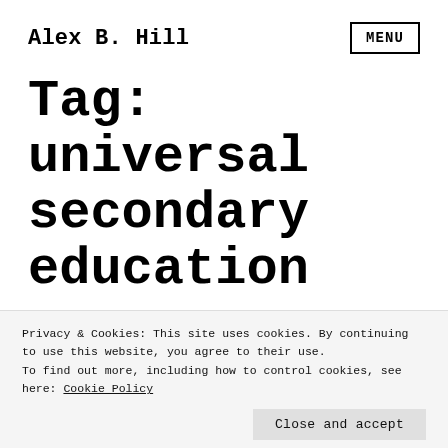Alex B. Hill
Tag: universal secondary education
more on politics in
Privacy & Cookies: This site uses cookies. By continuing to use this website, you agree to their use. To find out more, including how to control cookies, see here: Cookie Policy
Close and accept
and 170,000 flee to their ancestral homes.